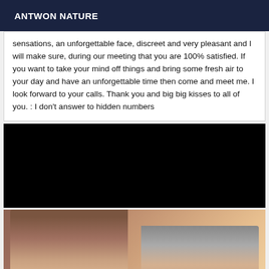ANTWON NATURE
sensations, an unforgettable face, discreet and very pleasant and I will make sure, during our meeting that you are 100% satisfied. If you want to take your mind off things and bring some fresh air to your day and have an unforgettable time then come and meet me. I look forward to your calls. Thank you and big big kisses to all of you. : I don't answer to hidden numbers
[Figure (photo): Black rectangle area (image not loaded)]
[Figure (photo): Photo showing two people in an indoor setting]